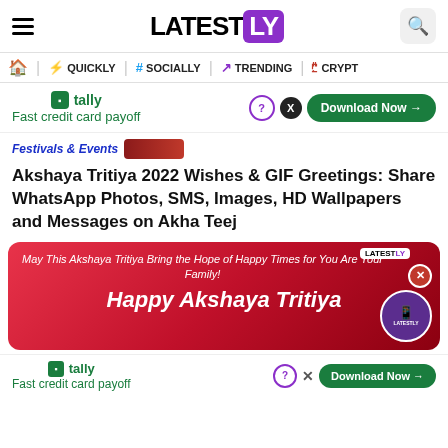LATESTLY
[Figure (screenshot): Navigation bar with home, QUICKLY, SOCIALLY, TRENDING, CRYPTO links]
[Figure (infographic): Tally ad banner: Fast credit card payoff, Download Now button]
Festivals & Events
Akshaya Tritiya 2022 Wishes & GIF Greetings: Share WhatsApp Photos, SMS, Images, HD Wallpapers and Messages on Akha Teej
[Figure (infographic): Akshaya Tritiya promo banner: May This Akshaya Tritiya Bring the Hope of Happy Times for You Are Your Family! Happy Akshaya Tritiya]
[Figure (infographic): Tally ad banner bottom: Fast credit card payoff, Download Now button]